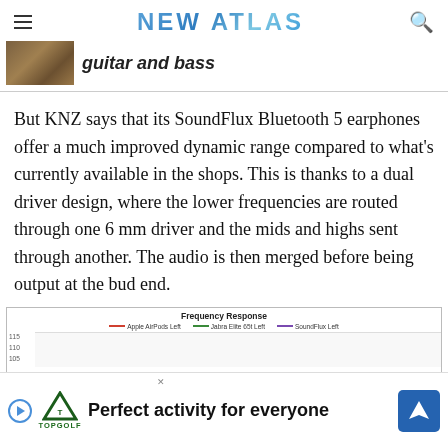NEW ATLAS
guitar and bass
But KNZ says that its SoundFlux Bluetooth 5 earphones offer a much improved dynamic range compared to what's currently available in the shops. This is thanks to a dual driver design, where the lower frequencies are routed through one 6 mm driver and the mids and highs sent through another. The audio is then merged before being output at the bud end.
[Figure (continuous-plot): Frequency Response chart preview showing legend with Apple AirPods Left (red), Jabra Elite 65t Left (green), SoundFlux Left (purple). Partial chart visible with y-axis values 105, 110, 115.]
[Figure (other): Topgolf advertisement banner reading 'Perfect activity for everyone' with Topgolf logo and navigation icon]